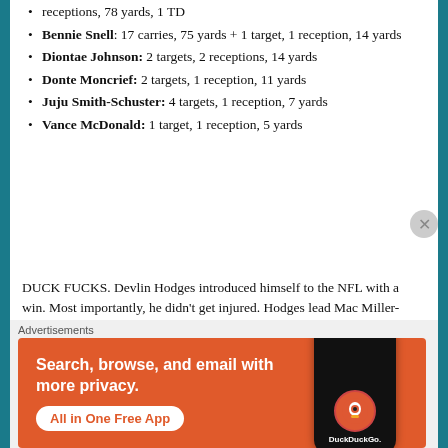receptions, 78 yards, 1 TD
Bennie Snell: 17 carries, 75 yards + 1 target, 1 reception, 14 yards
Diontae Johnson: 2 targets, 2 receptions, 14 yards
Donte Moncrief: 2 targets, 1 reception, 11 yards
Juju Smith-Schuster: 4 targets, 1 reception, 7 yards
Vance McDonald: 1 target, 1 reception, 5 yards
DUCK FUCKS. Devlin Hodges introduced himself to the NFL with a win. Most importantly, he didn't get injured. Hodges lead Mac Miller-land to 8 third-down conversions in a row at one point. Big Ben who? Mason Red Nose? All I know is DUCK FUCKS. James Connor looked like a stud at times this game. Bennie Snell looked good with the work he received. Steelers are 62-0 when
[Figure (screenshot): DuckDuckGo advertisement banner with orange background, showing phone mockup and text 'Search, browse, and email with more privacy. All in One Free App']